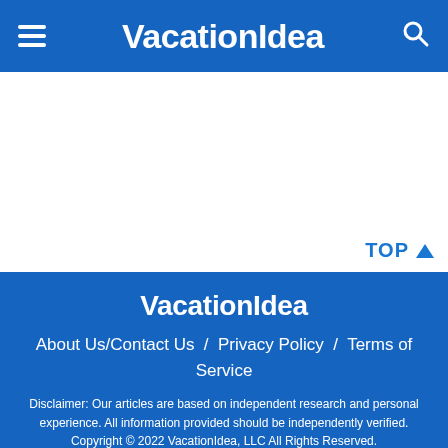VacationIdea
TOP
VacationIdea
About Us/Contact Us  /  Privacy Policy  /  Terms of Service
Disclaimer: Our articles are based on independent research and personal experience. All information provided should be independently verified.
Copyright © 2022 VacationIdea, LLC All Rights Reserved. Protected by Copyscape - Do Not Copy